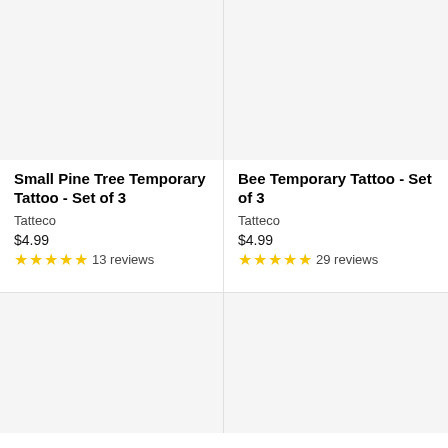[Figure (photo): Product image placeholder for Small Pine Tree Temporary Tattoo - Set of 3, light gray background]
Small Pine Tree Temporary Tattoo - Set of 3
Tatteco
$4.99
★★★★★ 13 reviews
[Figure (photo): Product image placeholder for Bee Temporary Tattoo - Set of 3, light gray background]
Bee Temporary Tattoo - Set of 3
Tatteco
$4.99
★★★★★ 29 reviews
[Figure (photo): Product image placeholder, bottom left, light gray background]
[Figure (photo): Product image placeholder, bottom right, light gray background]